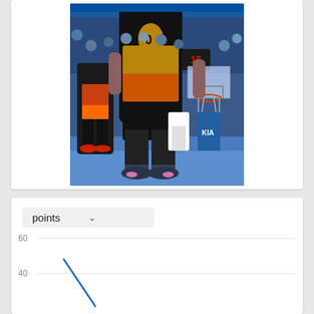[Figure (photo): NBA basketball game photo showing players on the court, one wearing a black and orange gradient jersey with number 0, visible scoreboard showing 15, Kia advertisement visible, basketball hoop in background, crowd in the stands]
[Figure (line-chart): Line chart with dropdown selector showing 'points', y-axis shows values 60 and 40, a blue line visible starting high around 45 and dropping sharply]